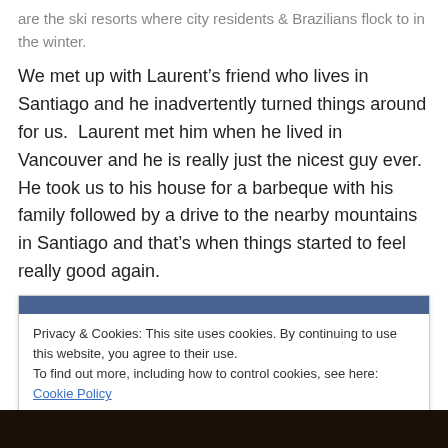are the ski resorts where city residents & Brazilians flock to in the winter.
We met up with Laurent’s friend who lives in Santiago and he inadvertently turned things around for us.  Laurent met him when he lived in Vancouver and he is really just the nicest guy ever.  He took us to his house for a barbeque with his family followed by a drive to the nearby mountains in Santiago and that’s when things started to feel really good again.
Privacy & Cookies: This site uses cookies. By continuing to use this website, you agree to their use.
To find out more, including how to control cookies, see here: Cookie Policy
[Figure (photo): Dark photo strip at the bottom of the page]